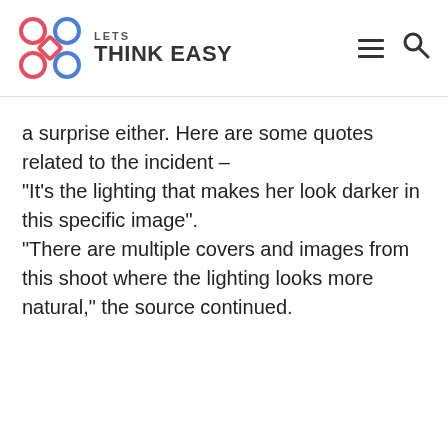LETS THINK EASY
a surprise either. Here are some quotes related to the incident –
“It's the lighting that makes her look darker in this specific image”.
“There are multiple covers and images from this shoot where the lighting looks more natural,” the source continued.